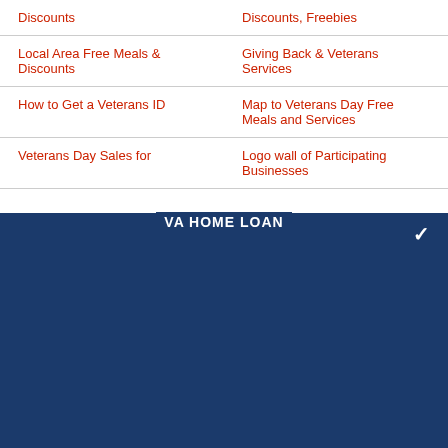| Discounts | Discounts, Freebies |
| Local Area Free Meals & Discounts | Giving Back & Veterans Services |
| How to Get a Veterans ID | Map to Veterans Day Free Meals and Services |
| Veterans Day Sales for | Logo wall of Participating Businesses |
VA Home Loan
Check Your Eligibility for a $0 Down VA Home Loan
I want to Buy a home
I want to Refinance my home